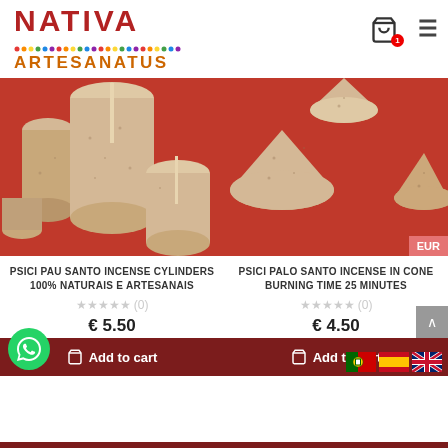NATIVA ARTESANATUS
[Figure (photo): Incense cylinders (Pau Santo) on a red background, cylindrical beige/sandy textured shapes with sticks]
PSICI PAU SANTO INCENSE CYLINDERS 100% NATURAIS E ARTESANAIS
★★★★★ (0)
€ 5.50
Add to cart
[Figure (photo): Incense cones (Palo Santo) on a red background, cone-shaped beige/sandy textured forms]
PSICI PALO SANTO INCENSE IN CONE BURNING TIME 25 MINUTES
★★★★★ (0)
€ 4.50
Add to cart